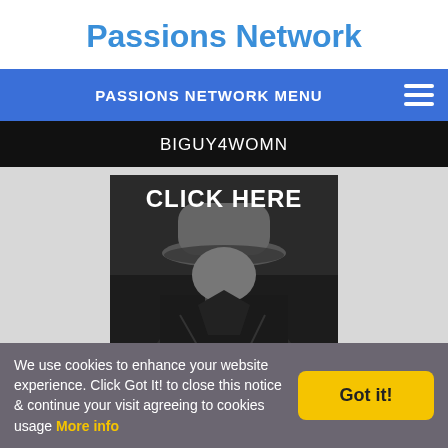Passions Network
PASSIONS NETWORK MENU
BIGUY4WOMN
[Figure (photo): Black and white photo of a man in a hat and coat, tipping his hat downward. Text overlay reads CLICK HERE.]
We use cookies to enhance your website experience. Click Got It! to close this notice & continue your visit agreeing to cookies usage More info